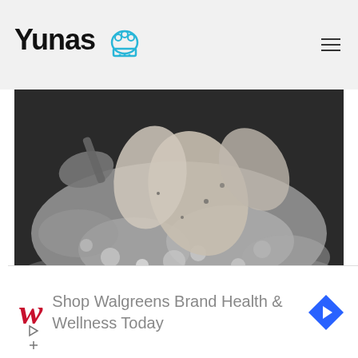Yunas 🍳
[Figure (photo): Chicken pieces or fish being boiled in a pot of foamy water, with a spoon or ladle visible in the top left, close-up shot from above.]
Pour vegetables, fish tails and heads with the right amount of clean water and put the pan on the stove, turned on at a strong level. After boiling, reduce the
[Figure (other): Advertisement banner: Walgreens logo with text 'Shop Walgreens Brand Health & Wellness Today' and a blue navigation arrow icon. Play and close controls at bottom left.]